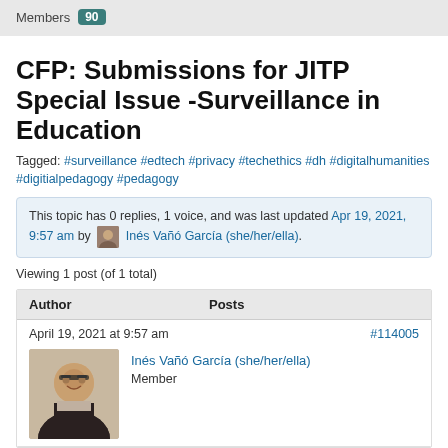Members 90
CFP: Submissions for JITP Special Issue -Surveillance in Education
Tagged: #surveillance #edtech #privacy #techethics #dh #digitalhumanities #digitialpedagogy #pedagogy
This topic has 0 replies, 1 voice, and was last updated Apr 19, 2021, 9:57 am by Inés Vañó García (she/her/ella).
Viewing 1 post (of 1 total)
| Author | Posts |
| --- | --- |
| April 19, 2021 at 9:57 am | #114005 |
| Inés Vañó García (she/her/ella)
Member |  |
[Figure (photo): Profile photo of Inés Vañó García, a woman with glasses and dark hair, wearing a dark jacket]